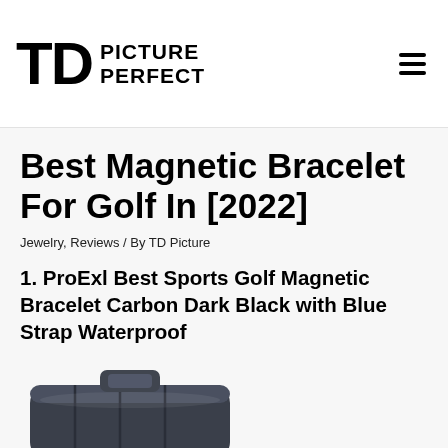TD PICTURE PERFECT
Best Magnetic Bracelet For Golf In [2022]
Jewelry, Reviews / By TD Picture
1. ProExl Best Sports Golf Magnetic Bracelet Carbon Dark Black with Blue Strap Waterproof
[Figure (photo): Photo of a magnetic golf bracelet, dark carbon/black color with segmented panels, partially cropped at bottom of page]